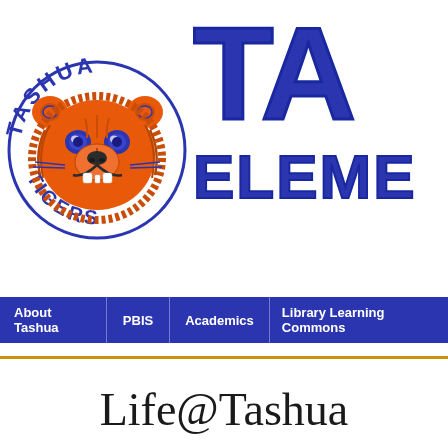[Figure (logo): Tashua Tigers mascot logo — orange bear/tiger face with blue circle text reading TASHUA at top and TIGERS at bottom]
TA ELEME
[Figure (screenshot): Navigation bar with items: About Tashua, PBIS, Academics, Library Learning Commons on dark blue background]
Life@Tashua